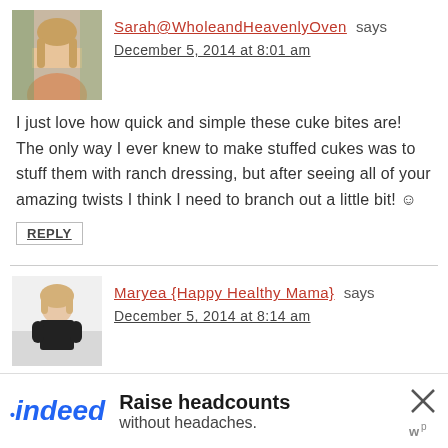[Figure (photo): Avatar photo of Sarah, a young woman with long blonde hair, outdoors]
Sarah@WholeandHeavenlyOven says
December 5, 2014 at 8:01 am
I just love how quick and simple these cuke bites are! The only way I ever knew to make stuffed cukes was to stuff them with ranch dressing, but after seeing all of your amazing twists I think I need to branch out a little bit! ☺
REPLY
[Figure (photo): Avatar photo of Maryea, a woman with light hair wearing a black top, standing in a kitchen]
Maryea {Happy Healthy Mama} says
December 5, 2014 at 8:14 am
I love these! What a perfect quick recipe.
[Figure (screenshot): Indeed advertisement banner: 'Raise headcounts without headaches.']